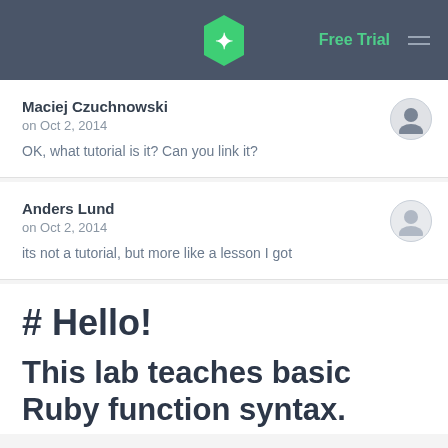Free Trial
Maciej Czuchnowski
on Oct 2, 2014

OK, what tutorial is it? Can you link it?
Anders Lund
on Oct 2, 2014

its not a tutorial, but more like a lesson I got
# Hello!
This lab teaches basic Ruby function syntax.